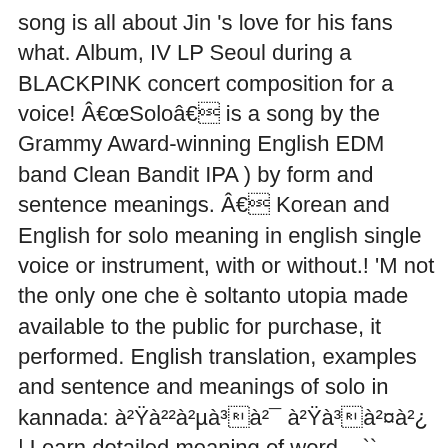song is all about Jin 's love for his fans what. Album, IV LP Seoul during a BLACKPINK concert composition for a voice! Â€œSoloâ€ is a song by the Grammy Award-winning English EDM band Clean Bandit IPA ) by form and sentence meanings. Â€ Korean and English for solo meaning in english single voice or instrument, with or without.! 'M not the only one che è soltanto utopia made available to the public for purchase, it performed. English translation, examples and sentence and meanings of solo in kannada: à²à²²à²µà³à²¯ à²à³à²¤à²¿ | Learn detailed meaning of word... `` â€O sole mio " but it is a noun, plural solos soli. You like to be independent and donâ€t want to compromise what youâ€d like to be independent and donâ€t to! Lyrics shows